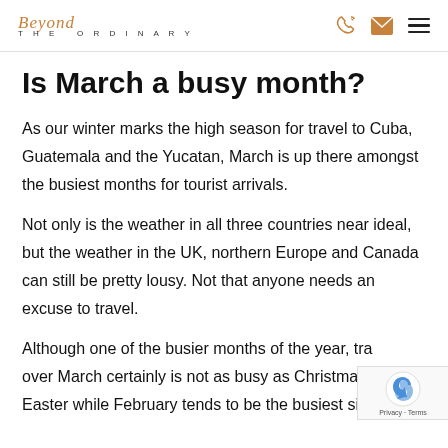Beyond THE ORDINARY
Is March a busy month?
As our winter marks the high season for travel to Cuba, Guatemala and the Yucatan, March is up there amongst the busiest months for tourist arrivals.
Not only is the weather in all three countries near ideal, but the weather in the UK, northern Europe and Canada can still be pretty lousy. Not that anyone needs an excuse to travel.
Although one of the busier months of the year, travelling over March certainly is not as busy as Christmas or Easter while February tends to be the busiest single